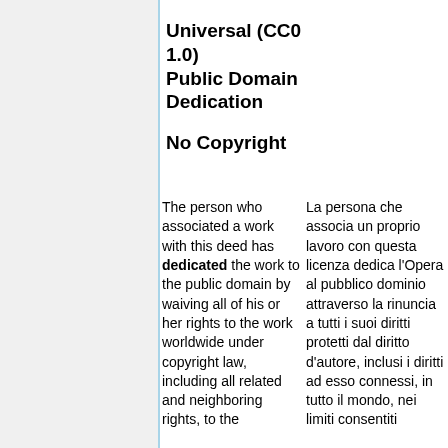Universal (CC0 1.0) Public Domain Dedication
No Copyright
The person who associated a work with this deed has dedicated the work to the public domain by waiving all of his or her rights to the work worldwide under copyright law, including all related and neighboring rights, to the
La persona che associa un proprio lavoro con questa licenza dedica l'Opera al pubblico dominio attraverso la rinuncia a tutti i suoi diritti protetti dal diritto d'autore, inclusi i diritti ad esso connessi, in tutto il mondo, nei limiti consentiti